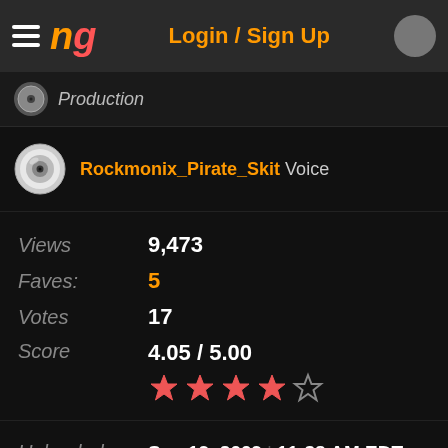Login / Sign Up
Production
Rockmonix_Pirate_Skit Voice
| Label | Value |
| --- | --- |
| Views | 9,473 |
| Faves: | 5 |
| Votes | 17 |
| Score | 4.05 / 5.00 |
| Label | Value |
| --- | --- |
| Uploaded | Sep 19, 2009 | 11:38 AM EDT |
| Genre | Comedy - Original |
| Tags | day  grand  pirate  ship |